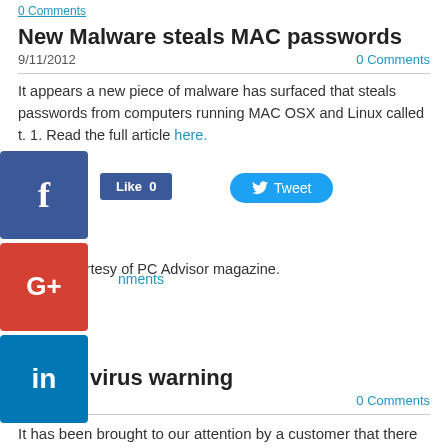0 Comments
New Malware steals MAC passwords
9/11/2012    0 Comments
It appears a new piece of malware has surfaced that steals passwords from computers running MAC OSX and Linux called t. 1. Read the full article here. Article courtesy of PC Advisor magazine.
[Figure (other): Social media share buttons: Facebook, Google+, LinkedIn icons, Like button, Tweet button]
nments
Trojan virus warning
6/2/2012    0 Comments
It has been brought to our attention by a customer that there is a trojan virus currently doing the rounds. It comes in the form of a supposed warning from the police about illegal downloading etc. and asking for a